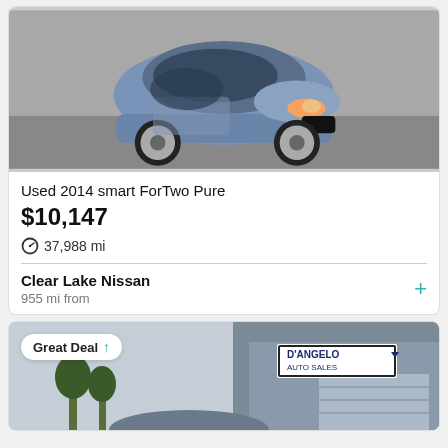[Figure (photo): Blue Smart ForTwo Pure compact car photographed from front-right angle on grey pavement]
Used 2014 smart ForTwo Pure
$10,147
37,988 mi
Clear Lake Nissan
955 mi from
[Figure (photo): Second car listing showing D'Angelo Auto Sales dealership building and a vehicle, with a Great Deal badge overlay]